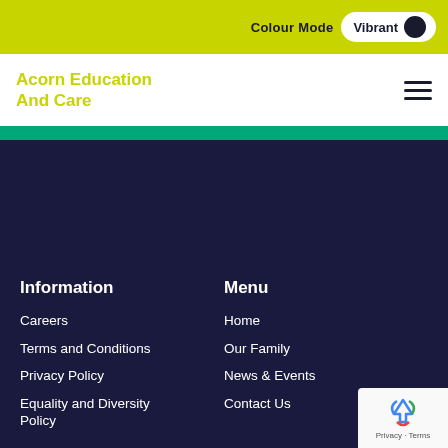Colour Mode  Vibrant
Acorn Education And Care
[Figure (illustration): Dark navy background area, likely an image placeholder or banner region]
Information
Menu
Careers
Home
Terms and Conditions
Our Family
Privacy Policy
News & Events
Equality and Diversity Policy
Contact Us